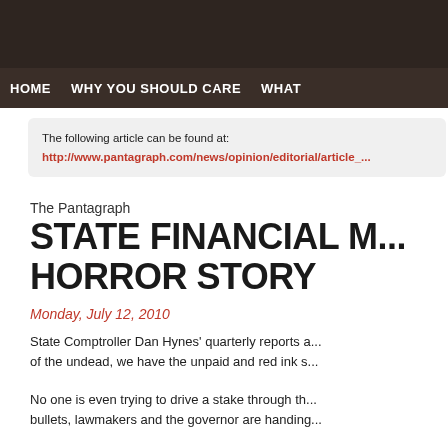HOME   WHY YOU SHOULD CARE   WHAT
The following article can be found at:
http://www.pantagraph.com/news/opinion/editorial/article_...
The Pantagraph
STATE FINANCIAL M... HORROR STORY
Monday, July 12, 2010
State Comptroller Dan Hynes' quarterly reports a... of the undead, we have the unpaid and red ink s...
No one is even trying to drive a stake through th... bullets, lawmakers and the governor are handing...